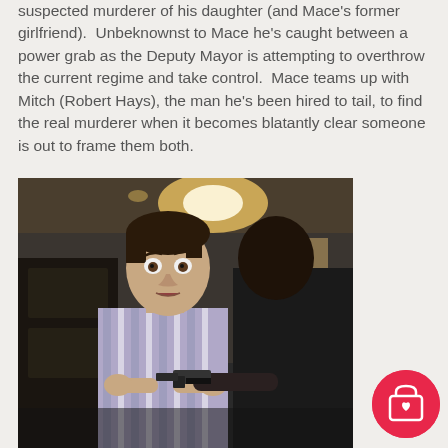suspected murderer of his daughter (and Mace's former girlfriend).  Unbeknownst to Mace he's caught between a power grab as the Deputy Mayor is attempting to overthrow the current regime and take control.  Mace teams up with Mitch (Robert Hays), the man he's been hired to tail, to find the real murderer when it becomes blatantly clear someone is out to frame them both.
[Figure (photo): Movie still showing two men facing each other, one in a striped shirt with a surprised/fearful expression, the other holding a gun pointed at him. Indoor setting.]